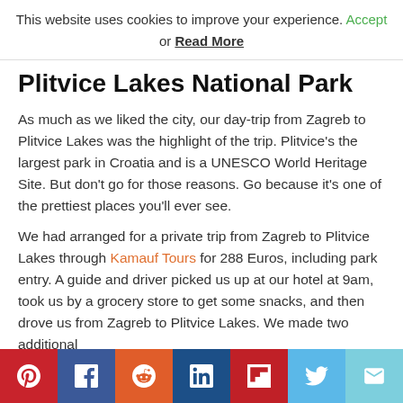This website uses cookies to improve your experience. Accept or Read More
Plitvice Lakes National Park
As much as we liked the city, our day-trip from Zagreb to Plitvice Lakes was the highlight of the trip. Plitvice's the largest park in Croatia and is a UNESCO World Heritage Site. But don't go for those reasons. Go because it's one of the prettiest places you'll ever see.
We had arranged for a private trip from Zagreb to Plitvice Lakes through Kamauf Tours for 288 Euros, including park entry. A guide and driver picked us up at our hotel at 9am, took us by a grocery store to get some snacks, and then drove us from Zagreb to Plitvice Lakes. We made two additional
Share buttons: Pinterest, Facebook, Reddit, LinkedIn, Flipboard, Twitter, Email